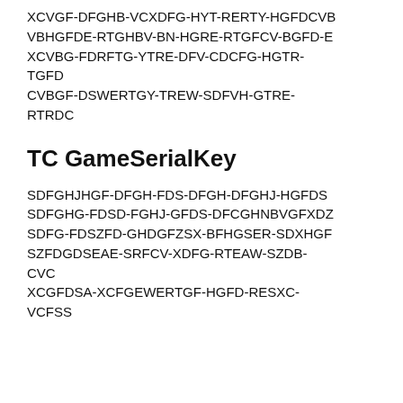XCVGF-DFGHB-VCXDFG-HYT-RERTY-HGFDCVB VBHGFDE-RTGHBV-BN-HGRE-RTGFCV-BGFD-E XCVBG-FDRFTG-YTRE-DFV-CDCFG-HGTR-TGFD CVBGF-DSWERTGY-TREW-SDFVH-GTRE-RTRDC
TC GameSerialKey
SDFGHJHGF-DFGH-FDS-DFGH-DFGHJ-HGFDS SDFGHG-FDSD-FGHJ-GFDS-DFCGHNBVGFXDZ SDFG-FDSZFD-GHDGFZSX-BFHGSER-SDXHGF SZFDGDSEAE-SRFCV-XDFG-RTEAW-SZDB-CVC XCGFDSA-XCFGEWERTGF-HGFD-RESXC-VCFSS